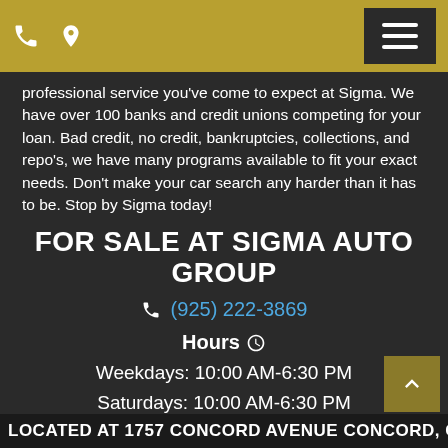Sigma Auto Group header with phone icon, location icon, and menu button
professional service you've come to expect at Sigma. We have over 100 banks and credit unions competing for your loan. Bad credit, no credit, bankruptcies, collections, and repo's, we have many programs available to fit your exact needs. Don't make your car search any harder than it has to be. Stop by Sigma today!
FOR SALE AT SIGMA AUTO GROUP
(925) 222-3869
Hours
Weekdays: 10:00 AM-6:30 PM
Saturdays: 10:00 AM-6:30 PM
Sundays: 11:00 AM-5:00 PM
LOCATED AT 1757 CONCORD AVENUE CONCORD, CA 94520